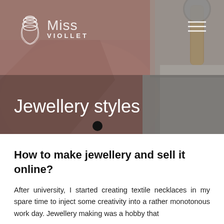[Figure (photo): Hero banner image showing a pink blazer jacket, a beige leather watch, and white fabric/pants laid flat on a grey surface. The image has a dark overlay. Includes the Miss Viollet logo in the top left and a hamburger menu icon in the top right.]
Jewellery styles
How to make jewellery and sell it online?
After university, I started creating textile necklaces in my spare time to inject some creativity into a rather monotonous work day. Jewellery making was a hobby that